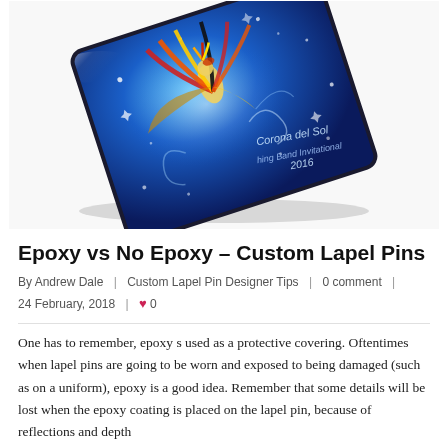[Figure (photo): A custom lapel pin with a blue background featuring a colorful bird/phoenix design and text reading 'Corona del Sol Marching Band Invitational 2016', with a glossy epoxy coating. The square pin is shown at an angle.]
Epoxy vs No Epoxy – Custom Lapel Pins
By Andrew Dale  |  Custom Lapel Pin Designer Tips  |  0 comment  |  24 February, 2018  |  ♥ 0
One has to remember, epoxy s used as a protective covering. Oftentimes when lapel pins are going to be worn and exposed to being damaged (such as on a uniform), epoxy is a good idea. Remember that some details will be lost when the epoxy coating is placed on the lapel pin, because of reflections and depth